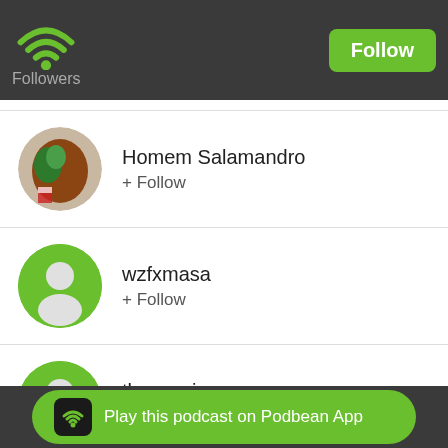Followers
Homem Salamandro
+ Follow
wzfxmasa
+ Follow
tbnzvanj
+ Follow
pqkinzri
Play this podcast on Podbean App